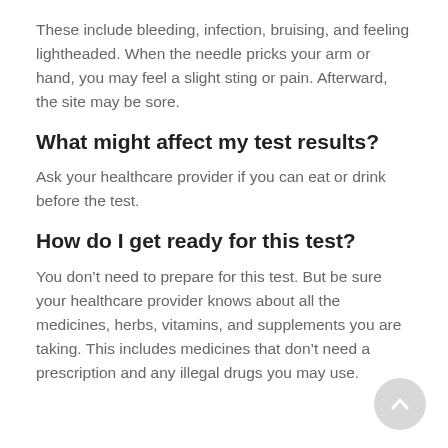These include bleeding, infection, bruising, and feeling lightheaded. When the needle pricks your arm or hand, you may feel a slight sting or pain. Afterward, the site may be sore.
What might affect my test results?
Ask your healthcare provider if you can eat or drink before the test.
How do I get ready for this test?
You don’t need to prepare for this test. But be sure your healthcare provider knows about all the medicines, herbs, vitamins, and supplements you are taking. This includes medicines that don’t need a prescription and any illegal drugs you may use.